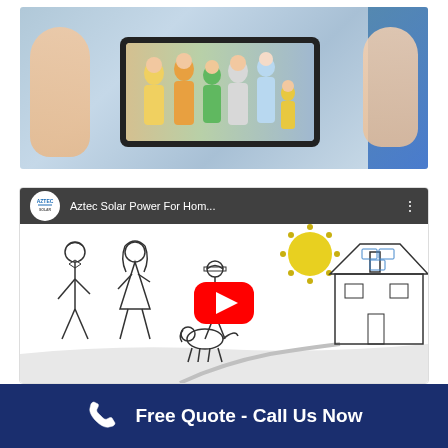[Figure (photo): Hands holding a smartphone showing a group of people (family), with solar panels visible in the background]
[Figure (screenshot): YouTube video thumbnail for 'Aztec Solar Power For Hom...' showing animated drawing of a family, sun, and house with solar panels, with a red play button in the center]
Free Quote - Call Us Now